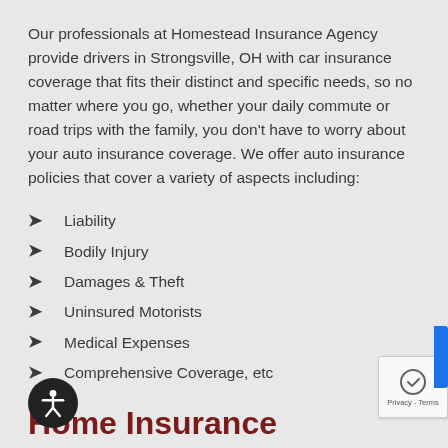Our professionals at Homestead Insurance Agency provide drivers in Strongsville, OH with car insurance coverage that fits their distinct and specific needs, so no matter where you go, whether your daily commute or road trips with the family, you don't have to worry about your auto insurance coverage. We offer auto insurance policies that cover a variety of aspects including:
Liability
Bodily Injury
Damages & Theft
Uninsured Motorists
Medical Expenses
Comprehensive Coverage, etc
Home Insurance
Strongsville is an ideal place for homeowners due to its blend of small-town charm and modern feel. With one of the highest...